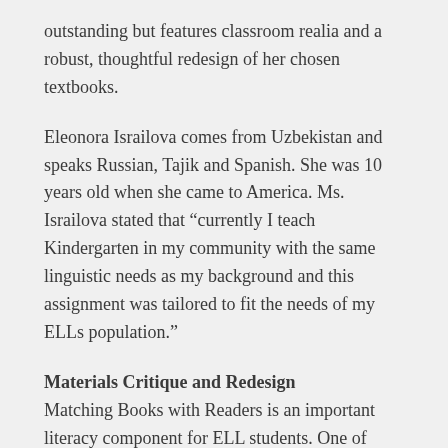outstanding but features classroom realia and a robust, thoughtful redesign of her chosen textbooks.
Eleonora Israilova comes from Uzbekistan and speaks Russian, Tajik and Spanish. She was 10 years old when she came to America. Ms. Israilova stated that “currently I teach Kindergarten in my community with the same linguistic needs as my background and this assignment was tailored to fit the needs of my ELLs population.”
Materials Critique and Redesign
Matching Books with Readers is an important literacy component for ELL students. One of